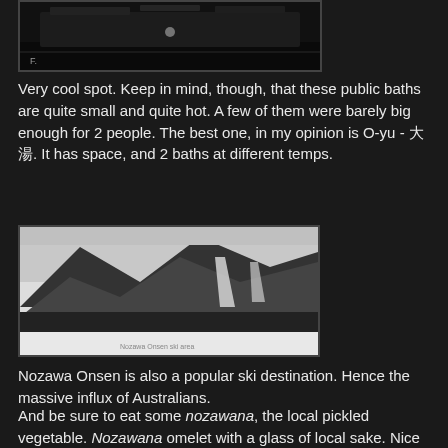[Figure (photo): Dark nighttime photo of a public bath area with steam or lights visible]
Very cool spot. Keep in mind, though, that these public baths are quite small and quite hot. A few of them were barely big enough for 2 people. The best one, in my opinion is O-yu - 大湯. It has space, and 2 baths at different temps.
[Figure (photo): Black and white mountain ski slope photo showing snowy mountainside with ski runs cut through trees]
Nozawa Onsen is also a popular ski destination. Hence the massive influx of Australians.
And be sure to eat some nozawana, the local pickled vegetable. Nozawana omelet with a glass of local sake. Nice lunch, son!